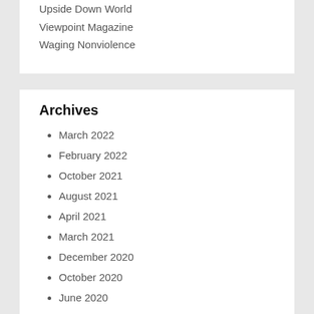Upside Down World
Viewpoint Magazine
Waging Nonviolence
Archives
March 2022
February 2022
October 2021
August 2021
April 2021
March 2021
December 2020
October 2020
June 2020
March 2020
January 2020